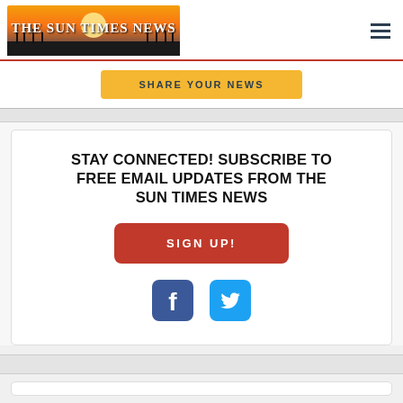[Figure (logo): The Sun Times News newspaper logo with golden sunrise and reeds silhouette background]
SHARE YOUR NEWS
STAY CONNECTED! SUBSCRIBE TO FREE EMAIL UPDATES FROM THE SUN TIMES NEWS
SIGN UP!
[Figure (illustration): Facebook icon - blue rounded square with white 'f' logo]
[Figure (illustration): Twitter icon - blue rounded square with white bird logo]